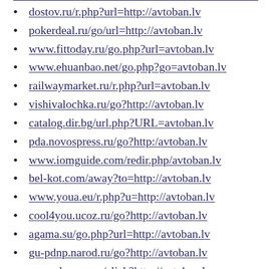dostov.ru/r.php?url=http://avtoban.lv
pokerdeal.ru/go/url=http://avtoban.lv
www.fittoday.ru/go.php?url=avtoban.lv
www.ehuanbao.net/go.php?go=avtoban.lv
railwaymarket.ru/r.php?url=avtoban.lv
vishivalochka.ru/go?http://avtoban.lv
catalog.dir.bg/url.php?URL=avtoban.lv
pda.novospress.ru/go?http:/avtoban.lv
www.iomguide.com/redir.php/avtoban.lv
bel-kot.com/away?to=http://avtoban.lv
www.youa.eu/r.php?u=http://avtoban.lv
cool4you.ucoz.ru/go?http://avtoban.lv
agama.su/go.php?url=http://avtoban.lv
gu-pdnp.narod.ru/go?http://avtoban.lv
www.denwer.ru/click?http://avtoban.lv
rg4u.clan.su/go?http://www.avtoban.lv
dawnofwar.org.ru/go?http://avtoban.lv
tobiz.ru/on.php?url=http://avtoban.lv
mei66.ru/go.php?url=http://avtoban.lv